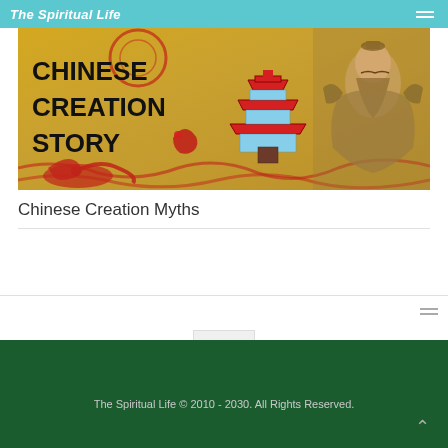The Spiritual Life
[Figure (illustration): Banner image with golden/yellow background showing bold black text 'CHINESE CREATION STORY', a red pagoda illustration, a red dragon illustration, and a sepia-toned drawing of a bearded sage figure]
Chinese Creation Myths
The Spiritual Life © 2010 - 2030. All Rights Reserved.